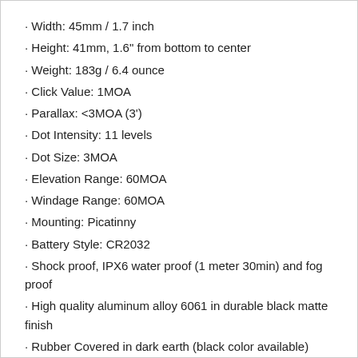· Width: 45mm / 1.7 inch
· Height: 41mm, 1.6" from bottom to center
· Weight: 183g / 6.4 ounce
· Click Value: 1MOA
· Parallax: <3MOA (3')
· Dot Intensity: 11 levels
· Dot Size: 3MOA
· Elevation Range: 60MOA
· Windage Range: 60MOA
· Mounting: Picatinny
· Battery Style: CR2032
· Shock proof, IPX6 water proof (1 meter 30min) and fog proof
· High quality aluminum alloy 6061 in durable black matte finish
· Rubber Covered in dark earth (black color available) without